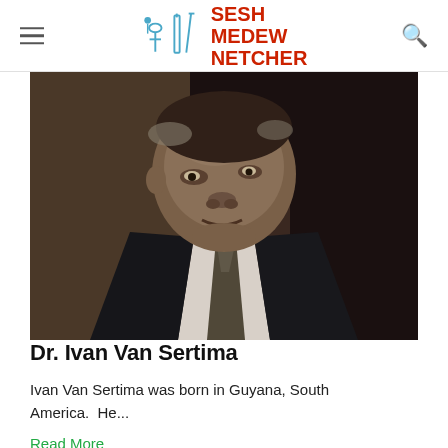SESH MEDEW NETCHER
[Figure (photo): Black and white/muted color photograph of Dr. Ivan Van Sertima, an older man wearing a dark suit and patterned tie, seated and looking slightly to the side.]
Dr. Ivan Van Sertima
Ivan Van Sertima was born in Guyana, South America.  He...
Read More